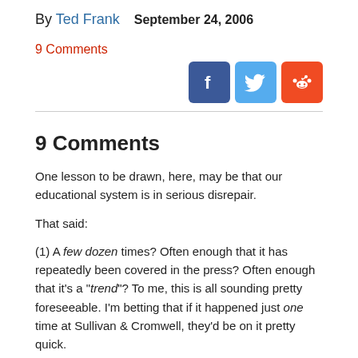By Ted Frank  September 24, 2006  9 Comments
[Figure (illustration): Social media share icons: Facebook (dark blue), Twitter (light blue), Reddit (orange)]
9 Comments
One lesson to be drawn, here, may be that our educational system is in serious disrepair.
That said:
(1) A few dozen times? Often enough that it has repeatedly been covered in the press? Often enough that it’s a “trend”? To me, this is all sounding pretty foreseeable. I’m betting that if it happened just one time at Sullivan & Cromwell, they’d be on it pretty quick.
(2) According to the law.com story, McDonald’s warnings came in corporate memos from five or more years ago. The story also mentions (though your